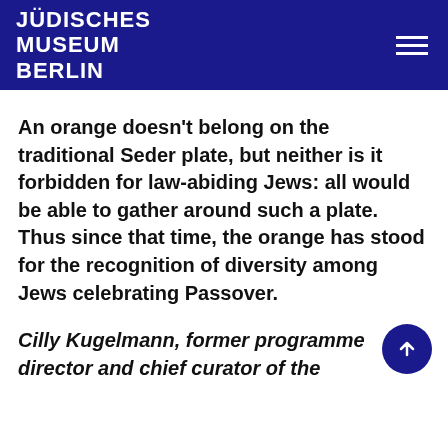JÜDISCHES MUSEUM BERLIN
An orange doesn't belong on the traditional Seder plate, but neither is it forbidden for law-abiding Jews: all would be able to gather around such a plate. Thus since that time, the orange has stood for the recognition of diversity among Jews celebrating Passover.
Cilly Kugelmann, former programme director and chief curator of the permanent exhibition of the JMB...